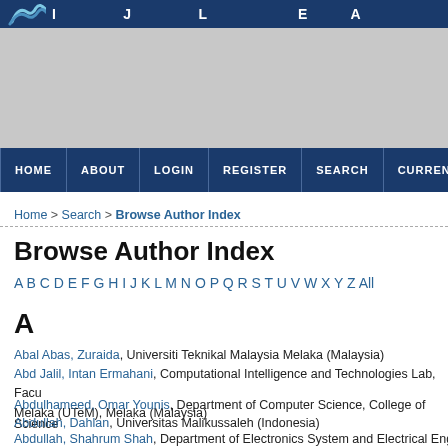[Figure (screenshot): Website header banner with dark blue top bar containing a logo arc and navigation title text, and a gray banner area below]
HOME | ABOUT | LOGIN | REGISTER | SEARCH | CURREN...
Home > Search > Browse Author Index
Browse Author Index
A B C D E F G H I J K L M N O P Q R S T U V W X Y Z All
A
Abal Abas, Zuraida, Universiti Teknikal Malaysia Melaka (Malaysia)
Abd Jalil, Intan Ermahani, Computational Intelligence and Technologies Lab, Faculty ..., Melaka (UTeM), Melaka (Malaysia)
Abdulhameed, Omar Younis, Department of Computer Science, College of Science...
Abdullah, Dahlan, Universitas Malikussaleh (Indonesia)
Abdullah, Shahrum Shah, Department of Electronics System and Electrical Engine...